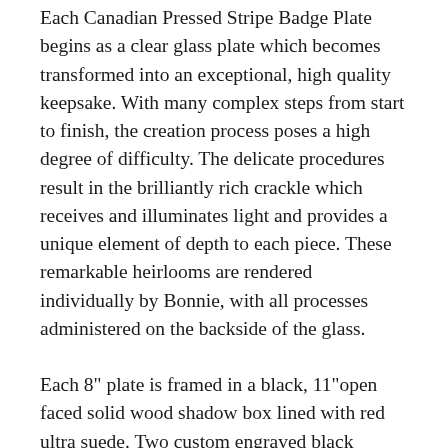Each Canadian Pressed Stripe Badge Plate begins as a clear glass plate which becomes transformed into an exceptional, high quality keepsake. With many complex steps from start to finish, the creation process poses a high degree of difficulty. The delicate procedures result in the brilliantly rich crackle which receives and illuminates light and provides a unique element of depth to each piece. These remarkable heirlooms are rendered individually by Bonnie, with all processes administered on the backside of the glass.
Each 8" plate is framed in a black, 11"open faced solid wood shadow box lined with red ultra suede. Two custom engraved black plaques which sit on the frame add a personalized touch to these mementos, which can be either wall mounted or displayed on a